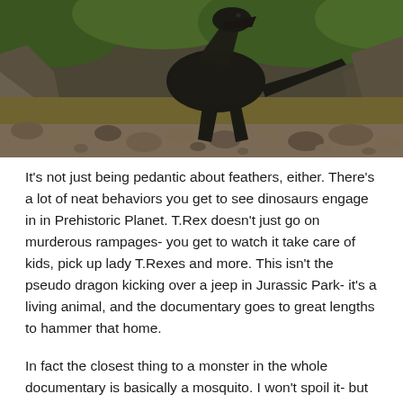[Figure (photo): A dinosaur (T. Rex type) standing on a rocky riverbed with boulders and murky water, surrounded by lush green vegetation in the background. The dinosaur is photographed from a low angle.]
It's not just being pedantic about feathers, either. There's a lot of neat behaviors you get to see dinosaurs engage in in Prehistoric Planet. T.Rex doesn't just go on murderous rampages- you get to watch it take care of kids, pick up lady T.Rexes and more. This isn't the pseudo dragon kicking over a jeep in Jurassic Park- it's a living animal, and the documentary goes to great lengths to hammer that home.
In fact the closest thing to a monster in the whole documentary is basically a mosquito. I won't spoil it- but as someone who lives in the tropics I've never had my hatred for bugs more validated than I have with this documentary